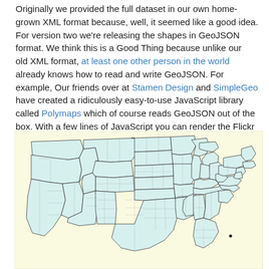Originally we provided the full dataset in our own home-grown XML format because, well, it seemed like a good idea. For version two we're releasing the shapes in GeoJSON format. We think this is a Good Thing because unlike our  old XML format, at least one other person in the world already knows how to read and write GeoJSON. For example, Our friends over at Stamen Design and SimpleGeo have created a ridiculously easy-to-use JavaScript library called Polymaps which of course reads GeoJSON out of the box. With a few lines of JavaScript you can render the Flickr shapefiles and start using them without all that pesky XML parsing stuff:
[Figure (map): A map of the contiguous United States with state and county boundaries drawn in thin black lines. States are filled with a light cyan/teal watercolor-style wash on a pale yellow background. The map shows all US states with county subdivisions visible.]